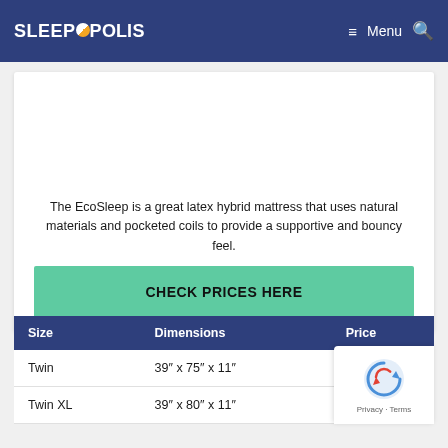SLEEPOPOLIS — Menu (search icon)
The EcoSleep is a great latex hybrid mattress that uses natural materials and pocketed coils to provide a supportive and bouncy feel.
CHECK PRICES HERE
| Size | Dimensions | Price |
| --- | --- | --- |
| Twin | 39" x 75" x 11" | $899 |
| Twin XL | 39" x 80" x 11" | $949 |